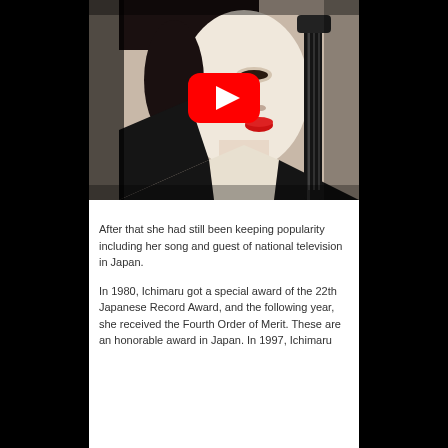[Figure (photo): Black and white photo of a Japanese woman in traditional attire with red lips, holding what appears to be a musical instrument (shamisen or similar), with a YouTube play button overlay in the center.]
After that she had still been keeping popularity including her song and guest of national television in Japan.
In 1980, Ichimaru got a special award of the 22th Japanese Record Award, and the following year, she received the Fourth Order of Merit. These are an honorable award in Japan. In 1997, Ichimaru...